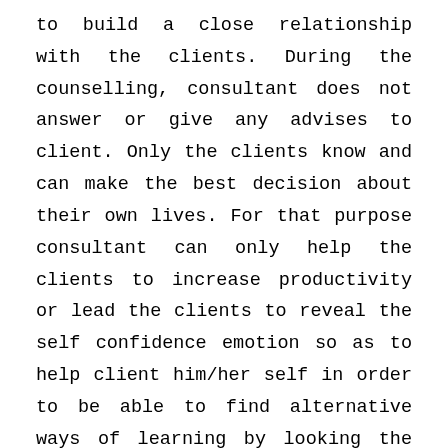to build a close relationship with the clients. During the counselling, consultant does not answer or give any advises to client. Only the clients know and can make the best decision about their own lives. For that purpose consultant can only help the clients to increase productivity or lead the clients to reveal the self confidence emotion so as to help client him/her self in order to be able to find alternative ways of learning by looking the actions form a different angle. Consultant cannot make any decision on the behalf of the client for any reason. Psychologists register the interviews that have been made with the clients however the records and private information cannot be shared even for the supervision purpose in accordance with the privacy policy and the records cannot be registered as an academic document. Some tests may be done in order to understand client's problems better. The tests can be interpreted by the expert psychologist